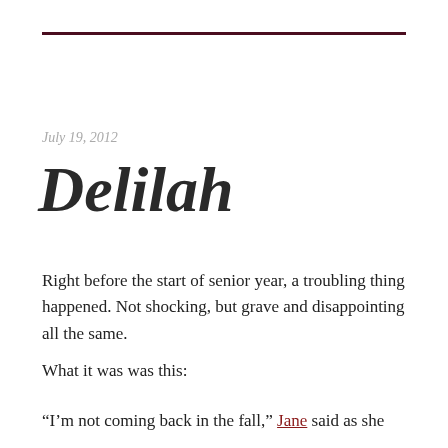July 19, 2012
Delilah
Right before the start of senior year, a troubling thing happened. Not shocking, but grave and disappointing all the same.
What it was was this:
“I’m not coming back in the fall,” Jane said as she